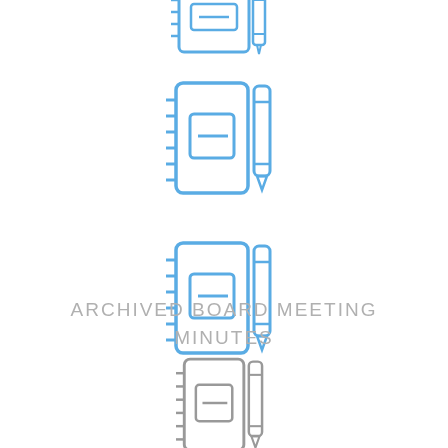[Figure (illustration): Notebook and pencil icon, partially cropped at top, in blue/teal color]
[Figure (illustration): Notebook and pencil icon, full size, in blue/teal color]
[Figure (illustration): Notebook and pencil icon, full size, in blue/teal color (second)]
ARCHIVED BOARD MEETING MINUTES
[Figure (illustration): Notebook and pencil icon, full size, in gray color]